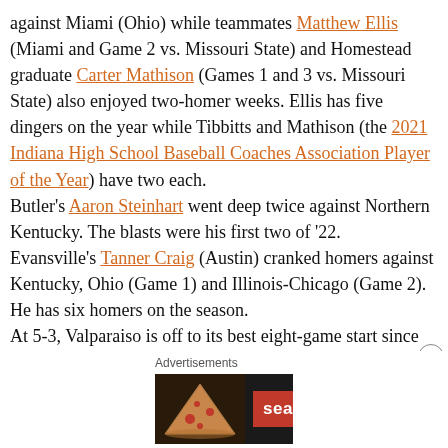against Miami (Ohio) while teammates Matthew Ellis (Miami and Game 2 vs. Missouri State) and Homestead graduate Carter Mathison (Games 1 and 3 vs. Missouri State) also enjoyed two-homer weeks. Ellis has five dingers on the year while Tibbitts and Mathison (the 2021 Indiana High School Baseball Coaches Association Player of the Year) have two each.
Butler's Aaron Steinhart went deep twice against Northern Kentucky. The blasts were his first two of '22.
Evansville's Tanner Craig (Austin) cranked homers against Kentucky, Ohio (Game 1) and Illinois-Chicago (Game 2). He has six homers on the season.
At 5-3, Valparaiso is off to its best eight-game start since 1999.
NCAA D-II University of Indianapolis third baseman Armen Torosian homered in Games 2 and 3 against Wayne State,
[Figure (other): Seamless food delivery advertisement banner showing pizza image on left, Seamless logo in red, and ORDER NOW button with white border on dark background]